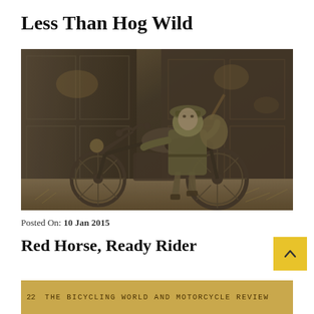Less Than Hog Wild
[Figure (photo): Black and white vintage photograph of a soldier in uniform sitting on an early motorcycle, positioned in front of a wooden shed or barn door.]
Posted On: 10 Jan 2015
Red Horse, Ready Rider
[Figure (photo): Partial view of an old magazine page with golden/yellow background showing text: '22  THE BICYCLING WORLD AND MOTORCYCLE REVIEW']